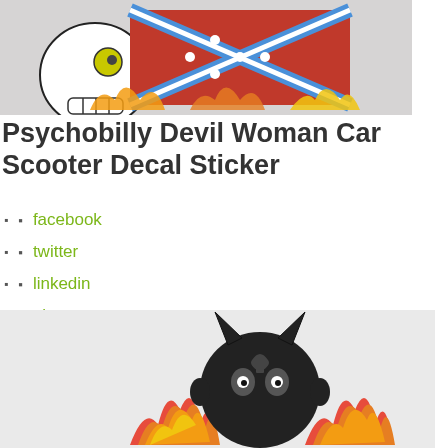[Figure (photo): A colorful sticker/decal depicting a skull with flames and a confederate flag design on a light gray background.]
Psychobilly Devil Woman Car Scooter Decal Sticker
facebook
twitter
linkedin
pinterest
[Figure (photo): A colorful sticker/decal depicting a devil woman character with flames and a playing card ace design on a light gray background.]